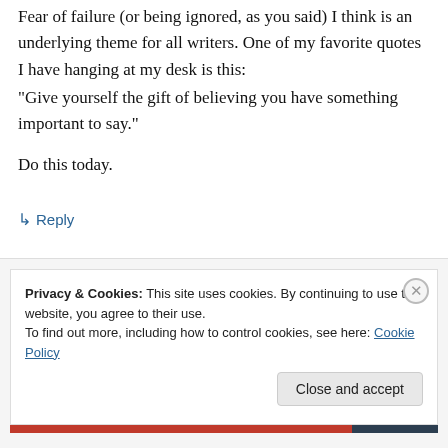Fear of failure (or being ignored, as you said) I think is an underlying theme for all writers. One of my favorite quotes I have hanging at my desk is this:
“Give yourself the gift of believing you have something important to say.”
Do this today.
↵ Reply
Privacy & Cookies: This site uses cookies. By continuing to use this website, you agree to their use.
To find out more, including how to control cookies, see here: Cookie Policy
Close and accept